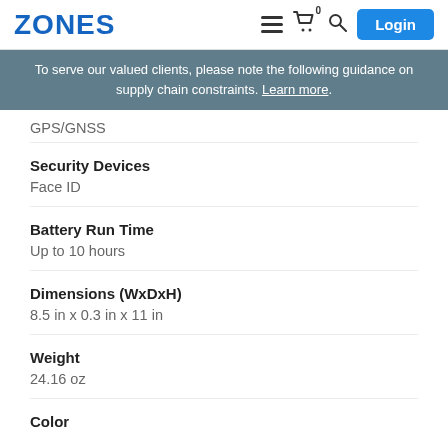ZONES | navigation icons | Login
To serve our valued clients, please note the following guidance on supply chain constraints. Learn more.
GPS/GNSS
Security Devices
Face ID
Battery Run Time
Up to 10 hours
Dimensions (WxDxH)
8.5 in x 0.3 in x 11 in
Weight
24.16 oz
Color